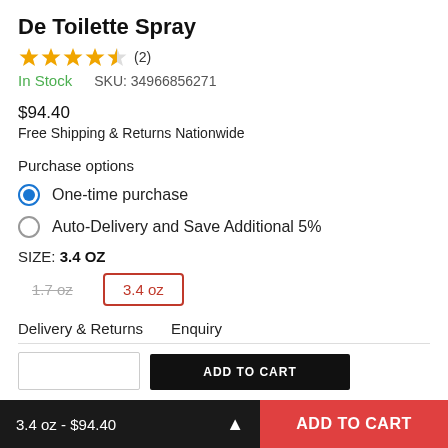De Toilette Spray
★★★★½ (2)
In Stock   SKU: 34966856271
$94.40
Free Shipping & Returns Nationwide
Purchase options
One-time purchase
Auto-Delivery and Save Additional 5%
SIZE: 3.4 OZ
1.7 oz   3.4 oz
Delivery & Returns   Enquiry
3.4 oz - $94.40
ADD TO CART